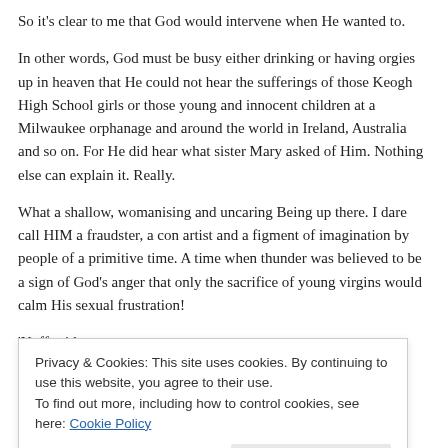So it’s clear to me that God would intervene when He wanted to.
In other words, God must be busy either drinking or having orgies up in heaven that He could not hear the sufferings of those Keogh High School girls or those young and innocent children at a Milwaukee orphanage and around the world in Ireland, Australia and so on. For He did hear what sister Mary asked of Him. Nothing else can explain it. Really.
What a shallow, womanising and uncaring Being up there. I dare call HIM a fraudster, a con artist and a figment of imagination by people of a primitive time. A time when thunder was believed to be a sign of God’s anger that only the sacrifice of young virgins would calm His sexual frustration!
‘Nuff said.
★ Like
Privacy & Cookies: This site uses cookies. By continuing to use this website, you agree to their use.
To find out more, including how to control cookies, see here: Cookie Policy
It’s time to remind good-intention and warm-hearted Americans of